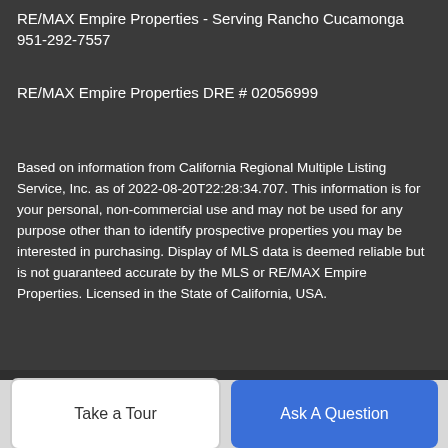RE/MAX Empire Properties - Serving Rancho Cucamonga 951-292-7557
RE/MAX Empire Properties DRE # 02056999
Based on information from California Regional Multiple Listing Service, Inc. as of 2022-08-20T22:28:34.707. This information is for your personal, non-commercial use and may not be used for any purpose other than to identify prospective properties you may be interested in purchasing. Display of MLS data is deemed reliable but is not guaranteed accurate by the MLS or RE/MAX Empire Properties. Licensed in the State of California, USA.
BoomTown! © 2022
Terms of Use | Privacy Policy | Accessibility | DMCA
Take a Tour
Ask A Question